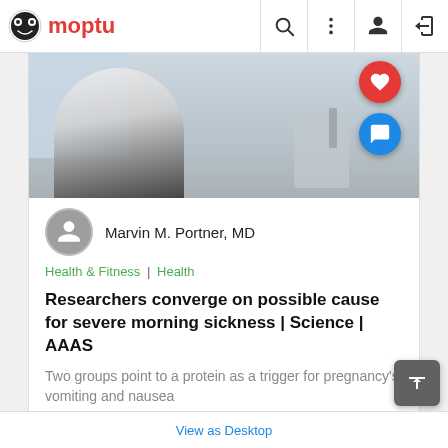Moptu
[Figure (photo): Pregnant woman standing at bathroom sink, with red heart like button and blue comment button overlaid on top right of image]
Marvin M. Portner, MD
Health & Fitness | Health
Researchers converge on possible cause for severe morning sickness | Science | AAAS
Two groups point to a protein as a trigger for pregnancy's vomiting and nausea
View Comments
Amsickness   pregnacy   research   ...
View as Desktop